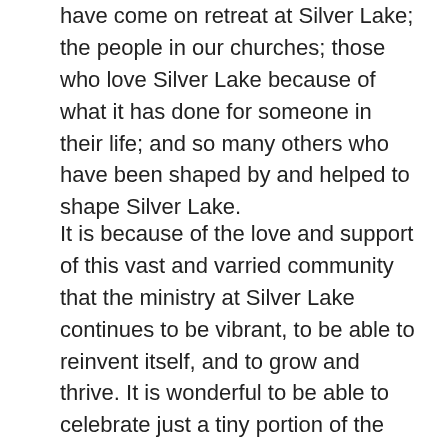have come on retreat at Silver Lake; the people in our churches; those who love Silver Lake because of what it has done for someone in their life; and so many others who have been shaped by and helped to shape Silver Lake.
It is because of the love and support of this vast and varried community that the ministry at Silver Lake continues to be vibrant, to be able to reinvent itself, and to grow and thrive. It is wonderful to be able to celebrate just a tiny portion of the incredible work you, the Silver Lake community, are doing in this time. This newsletter is filled with stories of care, support, love, and sharing God's grace with those who need support and thanking those who are making a difference. We know Silver Lake changes lives. We also know that transformation finds its way into the wider world